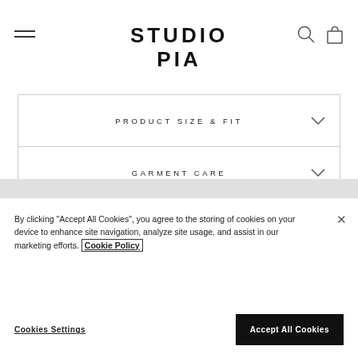STUDIO PIA
PRODUCT SIZE & FIT
GARMENT CARE
DELIVERY
By clicking "Accept All Cookies", you agree to the storing of cookies on your device to enhance site navigation, analyze site usage, and assist in our marketing efforts. Cookie Policy
Cookies Settings
Accept All Cookies